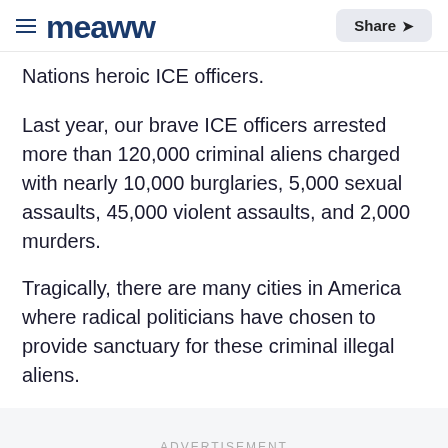meaww — Share
Nations heroic ICE officers.
Last year, our brave ICE officers arrested more than 120,000 criminal aliens charged with nearly 10,000 burglaries, 5,000 sexual assaults, 45,000 violent assaults, and 2,000 murders.
Tragically, there are many cities in America where radical politicians have chosen to provide sanctuary for these criminal illegal aliens.
ADVERTISEMENT